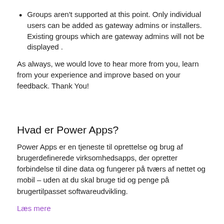Groups aren't supported at this point. Only individual users can be added as gateway admins or installers. Existing groups which are gateway admins will not be displayed .
As always, we would love to hear more from you, learn from your experience and improve based on your feedback. Thank You!
Hvad er Power Apps?
Power Apps er en tjeneste til oprettelse og brug af brugerdefinerede virksomhedsapps, der opretter forbindelse til dine data og fungerer på tværs af nettet og mobil – uden at du skal bruge tid og penge på brugertilpasset softwareudvikling.
Læs mere